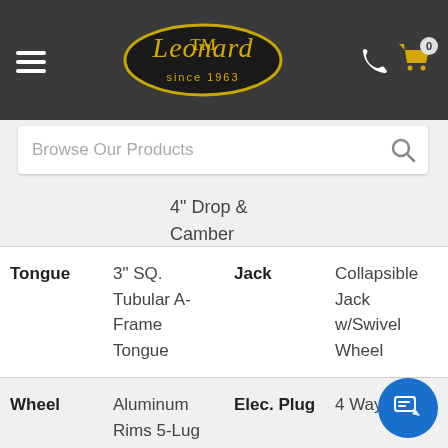[Figure (logo): Leonard since 1963 logo in gold script on dark oval, on dark gray header with hamburger menu, phone icon, and cart icon with badge 0]
[Figure (screenshot): Search bar with placeholder text 'Browse Our Products' and magnifying glass icon]
4" Drop & Camber
| Tongue | 3" SQ. Tubular A-Frame Tongue | Jack | Collapsible Jack w/Swivel Wheel |
| Wheel | Aluminum Rims 5-Lug | Elec. Plug | 4 Way Flat |
| Brake | No Brakes | Axles Warranty | 3 Year Limited |